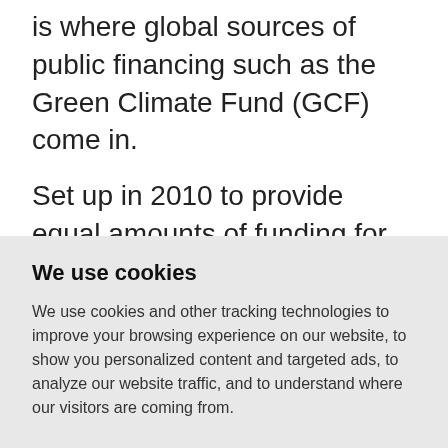is where global sources of public financing such as the Green Climate Fund (GCF) come in.
Set up in 2010 to provide equal amounts of funding for climate change mitigation and adaptation in developing countries, the GCF has a mandate to stimulate
We use cookies
We use cookies and other tracking technologies to improve your browsing experience on our website, to show you personalized content and targeted ads, to analyze our website traffic, and to understand where our visitors are coming from.